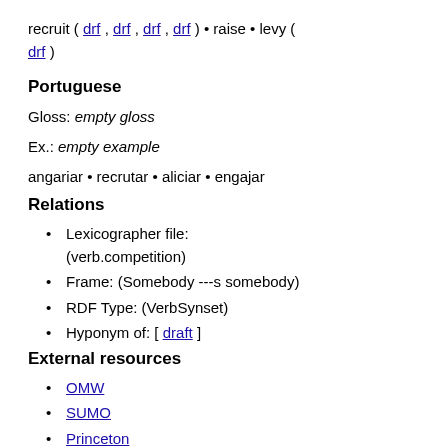recruit ( drf , drf , drf , drf ) • raise • levy ( drf )
Portuguese
Gloss: empty gloss
Ex.: empty example
angariar • recrutar • aliciar • engajar
Relations
Lexicographer file: (verb.competition)
Frame: (Somebody ---s somebody)
RDF Type: (VerbSynset)
Hyponym of: [ draft ]
External resources
OMW
SUMO
Princeton